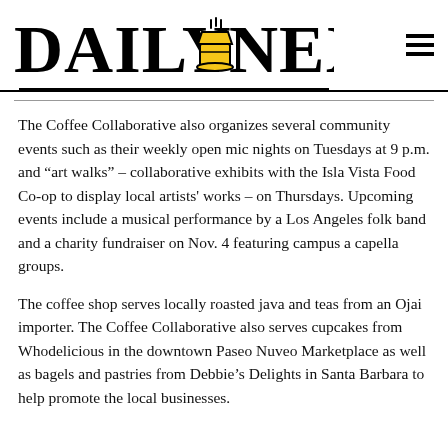DAILY NEXUS
The Coffee Collaborative also organizes several community events such as their weekly open mic nights on Tuesdays at 9 p.m. and “art walks” – collaborative exhibits with the Isla Vista Food Co-op to display local artists' works – on Thursdays. Upcoming events include a musical performance by a Los Angeles folk band and a charity fundraiser on Nov. 4 featuring campus a capella groups.
The coffee shop serves locally roasted java and teas from an Ojai importer. The Coffee Collaborative also serves cupcakes from Whodelicious in the downtown Paseo Nuveo Marketplace as well as bagels and pastries from Debbie’s Delights in Santa Barbara to help promote the local businesses.